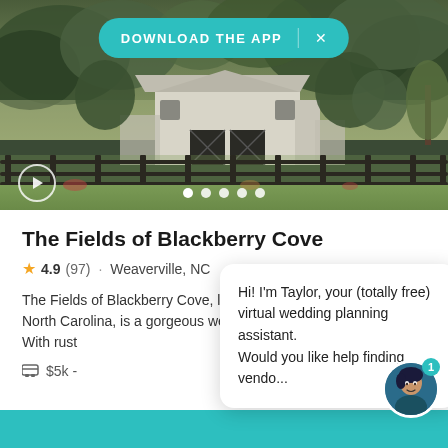[Figure (photo): Aerial/wide photo of The Fields of Blackberry Cove wedding venue — a white barn building surrounded by trees and a wooden fence, with green fields in the foreground. A 'DOWNLOAD THE APP' teal banner with X button is overlaid at top, a play button icon at bottom-left, and five carousel dots at bottom-center.]
The Fields of Blackberry Cove
4.9 (97) · Weaverville, NC
The Fields of Blackberry Cove, located in Weaverville, North Carolina, is a gorgeous wedding event venue. With rust...
$5k -
Hi! I'm Taylor, your (totally free) virtual wedding planning assistant. Would you like help finding vendo...